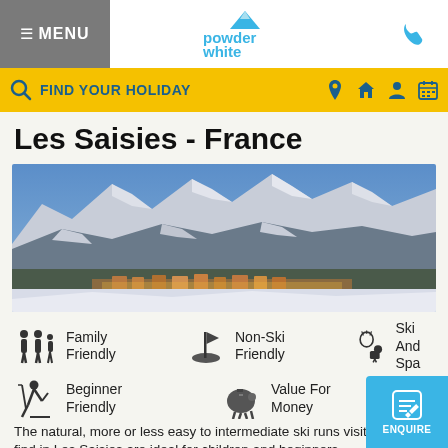≡ MENU | Powder White | [phone icon]
FIND YOUR HOLIDAY
Les Saisies - France
[Figure (photo): Aerial panoramic view of Les Saisies ski resort in France, showing snow-covered mountain peaks with ski runs and illuminated village buildings at the base]
Family Friendly
Non-Ski Friendly
Ski And Spa
Beginner Friendly
Value For Money
The natural, more or less easy to intermediate ski runs visitors can find in Les Saisies are ideal for children and beginners.